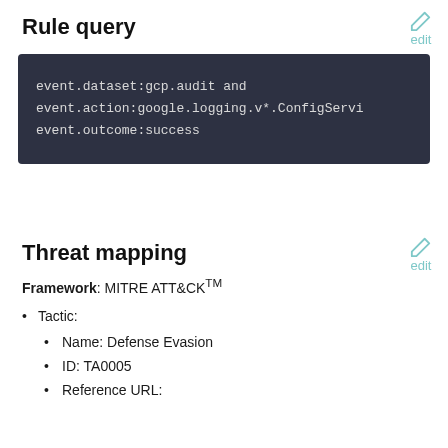Rule query
edit
[Figure (screenshot): Code block with dark background showing: event.dataset:gcp.audit and event.action:google.logging.v*.ConfigServi event.outcome:success]
Threat mapping
edit
Framework: MITRE ATT&CK™
Tactic:
Name: Defense Evasion
ID: TA0005
Reference URL: